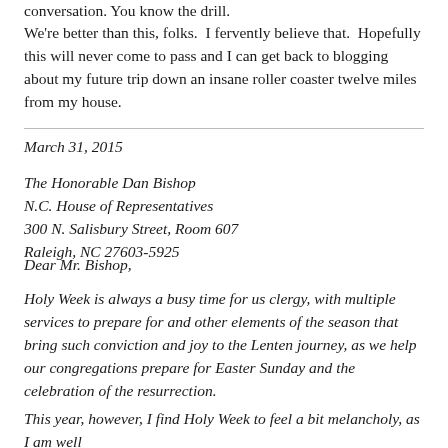conversation. You know the drill.
We're better than this, folks. I fervently believe that. Hopefully this will never come to pass and I can get back to blogging about my future trip down an insane roller coaster twelve miles from my house.
March 31, 2015
The Honorable Dan Bishop
N.C. House of Representatives
300 N. Salisbury Street, Room 607
Raleigh, NC 27603-5925
Dear Mr. Bishop,
Holy Week is always a busy time for us clergy, with multiple services to prepare for and other elements of the season that bring such conviction and joy to the Lenten journey, as we help our congregations prepare for Easter Sunday and the celebration of the resurrection.
This year, however, I find Holy Week to feel a bit melancholy, as I am well